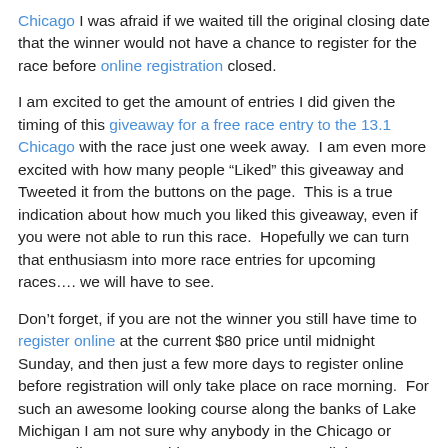Chicago I was afraid if we waited till the original closing date that the winner would not have a chance to register for the race before online registration closed.
I am excited to get the amount of entries I did given the timing of this giveaway for a free race entry to the 13.1 Chicago with the race just one week away.  I am even more excited with how many people “Liked” this giveaway and Tweeted it from the buttons on the page.  This is a true indication about how much you liked this giveaway, even if you were not able to run this race.  Hopefully we can turn that enthusiasm into more race entries for upcoming races…. we will have to see.
Don’t forget, if you are not the winner you still have time to register online at the current $80 price until midnight Sunday, and then just a few more days to register online before registration will only take place on race morning.  For such an awesome looking course along the banks of Lake Michigan I am not sure why anybody in the Chicago or surrounding area would not want to run or walk it.